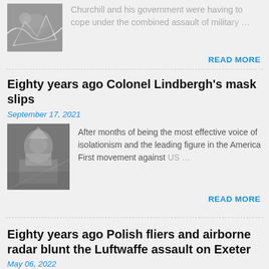Churchill and his government were having to cope under the combined assault of military …
READ MORE
Eighty years ago Colonel Lindbergh's mask slips
September 17, 2021
[Figure (photo): Black and white photo of Colonel Lindbergh at a podium]
After months of being the most effective voice of isolationism and the leading figure in the America First movement against US …
READ MORE
Eighty years ago Polish fliers and airborne radar blunt the Luftwaffe assault on Exeter
May 06, 2022